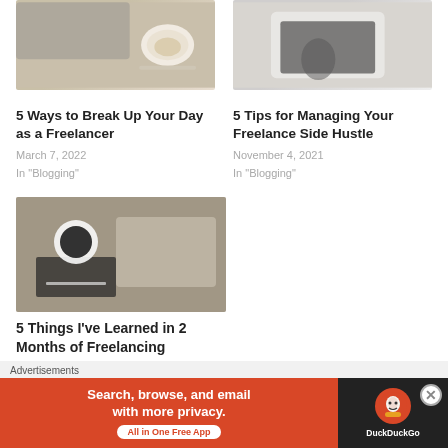[Figure (photo): Laptop and coffee cup on a table]
[Figure (photo): Person working on laptop on a bed]
5 Ways to Break Up Your Day as a Freelancer
5 Tips for Managing Your Freelance Side Hustle
March 7, 2022
In "Blogging"
November 4, 2021
In "Blogging"
[Figure (photo): Person writing in notebook with laptop and coffee nearby]
5 Things I’ve Learned in 2 Months of Freelancing
Advertisements
[Figure (screenshot): DuckDuckGo advertisement banner: Search, browse, and email with more privacy. All in One Free App]